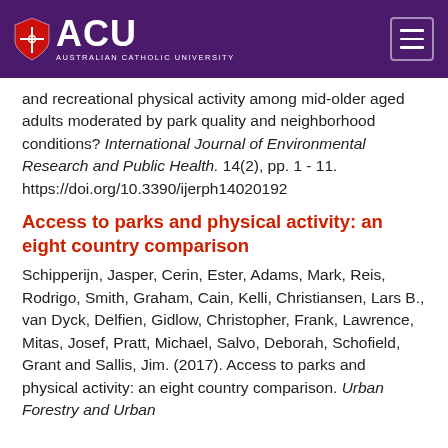ACU - Australian Catholic University
and recreational physical activity among mid-older aged adults moderated by park quality and neighborhood conditions? International Journal of Environmental Research and Public Health. 14(2), pp. 1 - 11. https://doi.org/10.3390/ijerph14020192
Access to parks and physical activity: an eight country comparison
Schipperijn, Jasper, Cerin, Ester, Adams, Mark, Reis, Rodrigo, Smith, Graham, Cain, Kelli, Christiansen, Lars B., van Dyck, Delfien, Gidlow, Christopher, Frank, Lawrence, Mitas, Josef, Pratt, Michael, Salvo, Deborah, Schofield, Grant and Sallis, Jim. (2017). Access to parks and physical activity: an eight country comparison. Urban Forestry and Urban